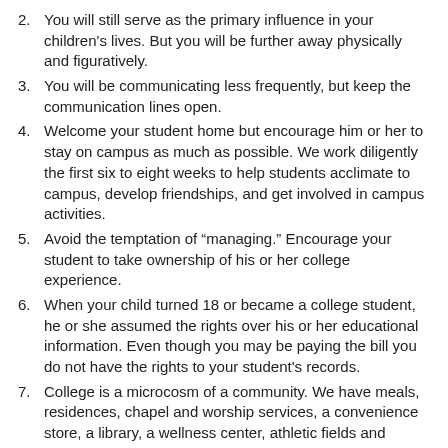2. You will still serve as the primary influence in your children's lives. But you will be further away physically and figuratively.
3. You will be communicating less frequently, but keep the communication lines open.
4. Welcome your student home but encourage him or her to stay on campus as much as possible. We work diligently the first six to eight weeks to help students acclimate to campus, develop friendships, and get involved in campus activities.
5. Avoid the temptation of “managing.” Encourage your student to take ownership of his or her college experience.
6. When your child turned 18 or became a college student, he or she assumed the rights over his or her educational information. Even though you may be paying the bill you do not have the rights to your student's records.
7. College is a microcosm of a community. We have meals, residences, chapel and worship services, a convenience store, a library, a wellness center, athletic fields and courts, entertainment and activities, counseling services, security and rules.
8. Make sure you and your student take time to review the lifestyle agreement that he or she signed.
9. Know your student's resident assistant, resident director and academic advisor.